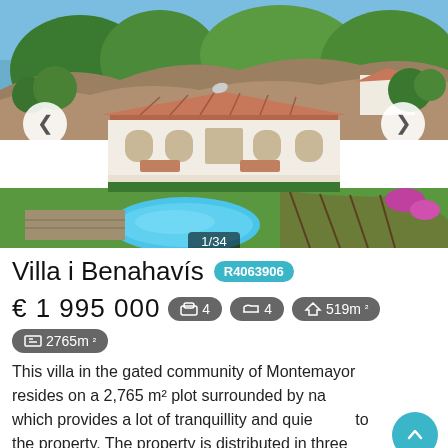[Figure (photo): Aerial view of a white Mediterranean villa with terracotta tiled roof, large garden with swimming pool, surrounded by trees and nature, in Montemayor gated community, Benahavís. Navigation arrows on left and right. Image counter 1/34 at bottom center.]
Villa i Benahavis R4063906
€ 1 995 000 | 4 bedrooms | 4 bathrooms | 519m² | 2765m²
This villa in the gated community of Montemayor resides on a 2,765 m² plot surrounded by nature, which provides a lot of tranquillity and quietness to the property. The property is distributed in three